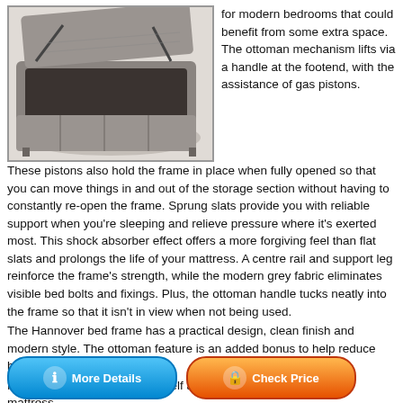[Figure (photo): Grey fabric ottoman bed frame with the base lifted open showing the storage area underneath, photographed in a bedroom setting on a grey rug.]
for modern bedrooms that could benefit from some extra space. The ottoman mechanism lifts via a handle at the footend, with the assistance of gas pistons. These pistons also hold the frame in place when fully opened so that you can move things in and out of the storage section without having to constantly re-open the frame. Sprung slats provide you with reliable support when you're sleeping and relieve pressure where it's exerted most. This shock absorber effect offers a more forgiving feel than flat slats and prolongs the life of your mattress. A centre rail and support leg reinforce the frame's strength, while the modern grey fabric eliminates visible bed bolts and fixings. Plus, the ottoman handle tucks neatly into the frame so that it isn't in view when not being used.
The Hannover bed frame has a practical design, clean finish and modern style. The ottoman feature is an added bonus to help reduce bedroom clutter.
Please note: Bed frames are self assembly and priced without a mattress